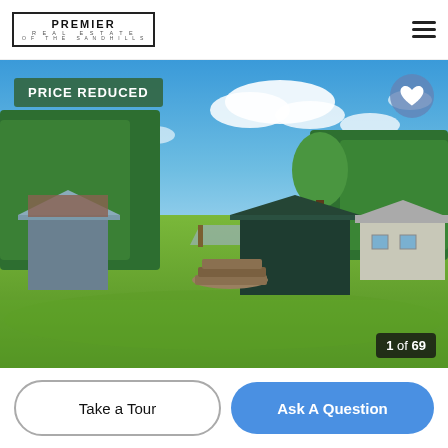[Figure (logo): Premier Real Estate of the Sandhills logo — bordered box with stacked text]
[Figure (photo): Outdoor property photo showing a green lawn, blue sky with clouds, several outbuildings/sheds and a white house in the background, surrounded by trees. Logs stacked in the yard. 'PRICE REDUCED' badge in top-left. Heart icon in top-right. Photo counter '1 of 69' bottom-right.]
PRICE REDUCED
1 of 69
Take a Tour
Ask A Question